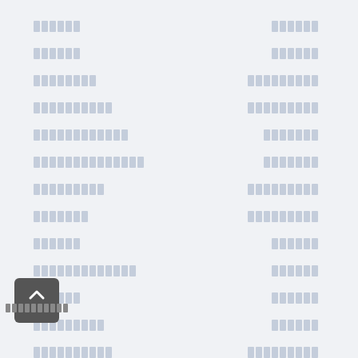[redacted] [redacted]
[redacted] [redacted]
[redacted] [redacted]
[redacted] [redacted]
[redacted] [redacted]
[redacted] [redacted]
[redacted] [redacted]
[redacted] [redacted]
[redacted] [redacted]
[redacted] [redacted]
[redacted] [redacted]
[redacted] [redacted]
[redacted] [redacted]